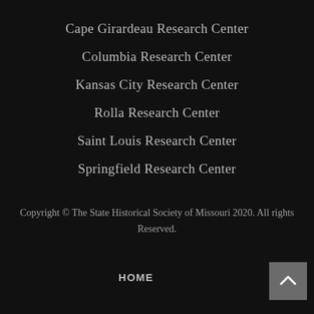Cape Girardeau Research Center
Columbia Research Center
Kansas City Research Center
Rolla Research Center
Saint Louis Research Center
Springfield Research Center
Copyright © The State Historical Society of Missouri 2020. All rights Reserved.
HOME